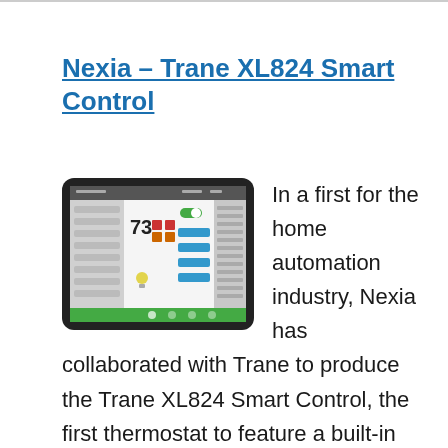Nexia – Trane XL824 Smart Control
[Figure (screenshot): Screenshot of a tablet/iPad displaying the Nexia home automation app interface, showing temperature reading of 73, various controls, and a dark bezel device frame.]
In a first for the home automation industry, Nexia has collaborated with Trane to produce the Trane XL824 Smart Control, the first thermostat to feature a built-in home automation